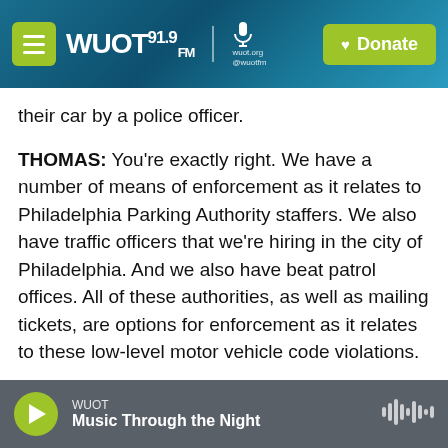WUOT 91.9 FM — wuot.org @wuotfm | Donate
their car by a police officer.
THOMAS: You're exactly right. We have a number of means of enforcement as it relates to Philadelphia Parking Authority staffers. We also have traffic officers that we're hiring in the city of Philadelphia. And we also have beat patrol offices. All of these authorities, as well as mailing tickets, are options for enforcement as it relates to these low-level motor vehicle code violations.
CHANG: So I'm looking at a statement here from the Philadelphia Police Department, and they have
WUOT — Music Through the Night